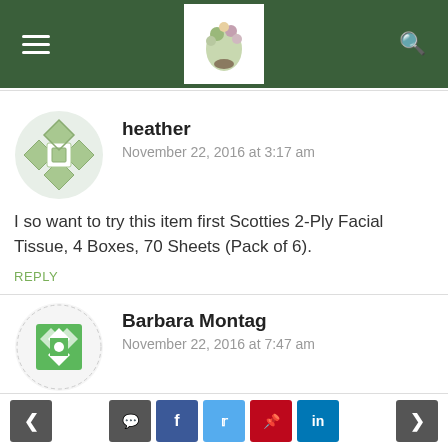Navigation header with hamburger menu, logo, and search icon
heather
November 22, 2016 at 3:17 am

I so want to try this item first Scotties 2-Ply Facial Tissue, 4 Boxes, 70 Sheets (Pack of 6).
REPLY
Barbara Montag
November 22, 2016 at 7:47 am

I would enjoy trying the Scotties 2-Ply Facial Tissue
Navigation bar with prev, comment, facebook, twitter, pinterest, linkedin, next buttons